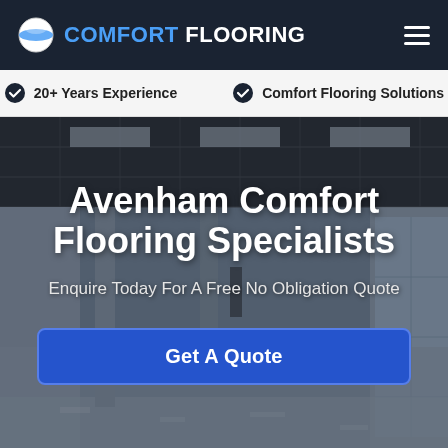COMFORT FLOORING
20+ Years Experience   Comfort Flooring Solutions
[Figure (photo): Interior of a large empty commercial building with polished reflective floor, exposed ceiling grid, and natural light from windows on the right side.]
Avenham Comfort Flooring Specialists
Enquire Today For A Free No Obligation Quote
Get A Quote